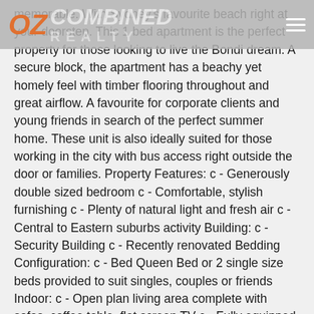OZ COMBINED REALTY [logo + hamburger menu]
memorable. With Sydney’s favourite beach right at your doorstep. This 1 bed apartment is the perfect property for those looking to live the Bondi dream. A secure block, the apartment has a beachy yet homely feel with timber flooring throughout and great airflow. A favourite for corporate clients and young friends in search of the perfect summer home. These unit is also ideally suited for those working in the city with bus access right outside the door or families. Property Features: c - Generously double sized bedroom c - Comfortable, stylish furnishing c - Plenty of natural light and fresh air c - Central to Eastern suburbs activity Building: c - Security Building c - Recently renovated Bedding Configuration: c - Bed Queen Bed or 2 single size beds provided to suit singles, couples or friends Indoor: c - Open plan living area complete with sofas, coffee table, flat screen TV c - Fully equipped kitchen with cutlery, crockery and appliances c - Comfortably decorated throughout c - Luxurious hotel quality linen is provided Outdoor roof top c - opposite to Bondi Beach c - 1 minute walk to 333 Bus Stop (Express to Bondi Junction and City) Entertainment: c - Flat screen TV Internet: c - Internet Access c” WIFI unlimited Laundry: c - Washing machine / dryer provided Enjoy an extraordinary Beach lifestyle at this apartment. Cafes, restaurants, sand and surf at your door step. Departure Clean and Linen Set up All beds are made up with hotel quality sheets and luxurious towels are provided for your stay. A departure